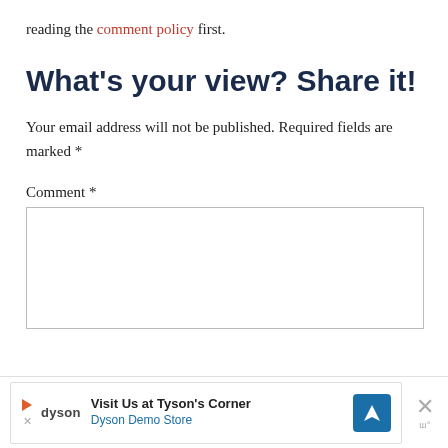reading the comment policy first.
What's your view? Share it!
Your email address will not be published. Required fields are marked *
Comment *
[Figure (screenshot): Advertisement banner: Dyson Demo Store — Visit Us at Tyson's Corner, with navigation icon and close button]